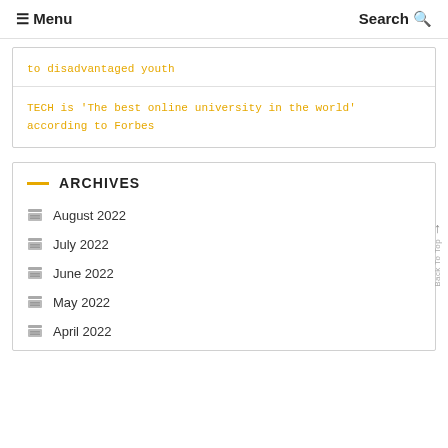≡ Menu    Search Q
to disadvantaged youth
TECH is 'The best online university in the world' according to Forbes
ARCHIVES
August 2022
July 2022
June 2022
May 2022
April 2022